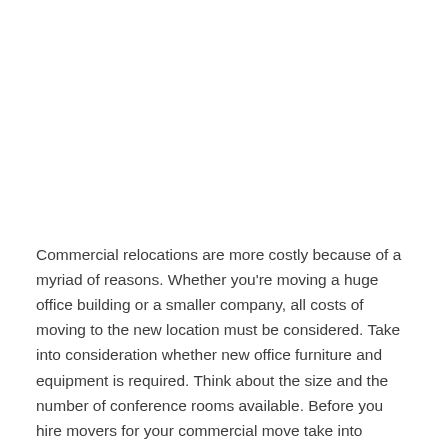Commercial relocations are more costly because of a myriad of reasons. Whether you're moving a huge office building or a smaller company, all costs of moving to the new location must be considered. Take into consideration whether new office furniture and equipment is required. Think about the size and the number of conference rooms available. Before you hire movers for your commercial move take into consideration these points. Make sure the date of your